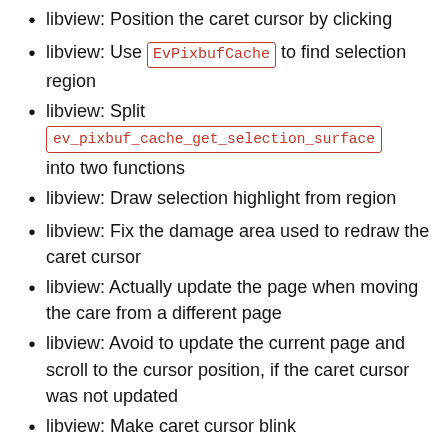libview: Position the caret cursor by clicking
libview: Use EvPixbufCache to find selection region
libview: Split ev_pixbuf_cache_get_selection_surface into two functions
libview: Draw selection highlight from region
libview: Fix the damage area used to redraw the caret cursor
libview: Actually update the page when moving the care from a different page
libview: Avoid to update the current page and scroll to the cursor position, if the caret cursor was not updated
libview: Make caret cursor blink
libview: Use logical attributes instead text layout to move the caret cursor